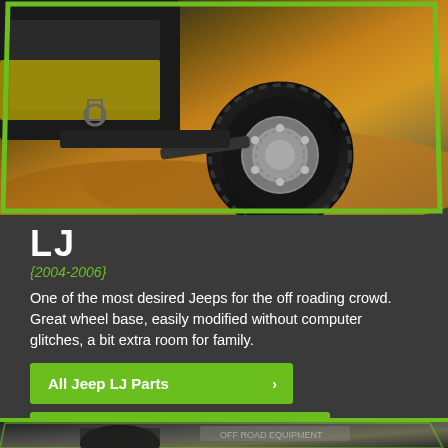[Figure (photo): Jeep LJ off-road vehicle with large tires, photographed at an angle showing the front wheels and suspension on desert terrain. Image framed with green parallelogram border.]
LJ
{2004-2006}
One of the most desired Jeeps for the off roading crowd. Great wheel base, easily modified without computer glitches, a bit extra room for family.
All Jeep LJ Parts ›
Jeep LJ Body Armor ›
Jeep LJ Bumpers ›
Jeep LJ Suspension ›
[Figure (photo): Partial view of another Jeep model at the bottom of the page, partially cropped, with off-road equipment visible.]